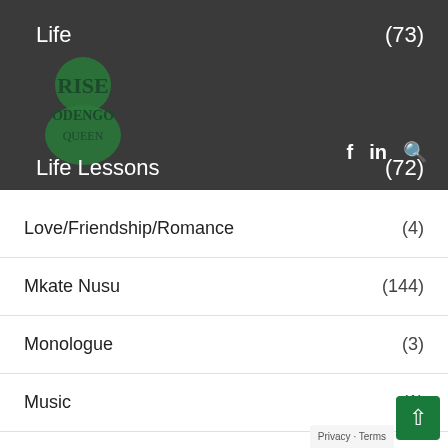Life (73)
Life Lessons (72)
Love/Friendship/Romance (4)
Mkate Nusu (144)
Monologue (3)
Music (1)
Nuggets Of Wisdom (5)
Odengo Living